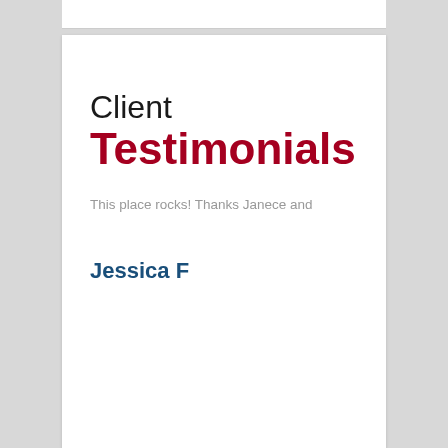Client Testimonials
This place rocks! Thanks Janece and
Jessica F